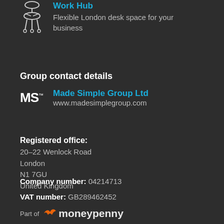Work Hub
Flexible London desk space for your business
Group contact details
Made Simple Group Ltd
www.madesimplegroup.com
Registered office:
20–22 Wenlock Road
London
N1 7GU
United Kingdom
Company number: 04214713
VAT number: GB289462452
Part of moneypenny